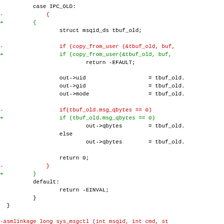[Figure (other): Source code diff showing changes to a C function handling IPC_OLD case and sys_msgctl function signature. Red lines (prefixed with -) show removed code, green lines (prefixed with +) show added code, black lines show unchanged code.]